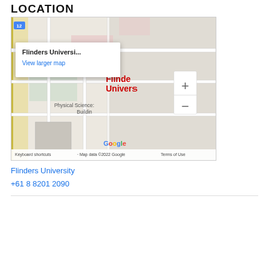LOCATION
[Figure (map): Google Maps embed showing Flinders University location with popup 'Flinders Universi...' and 'View larger map' link, streets including Riverside Dr, Malcolm St, Myton St, Physical Sciences Building label, Google logo, zoom controls, map data credit '©2022 Google', Terms of Use link.]
Flinders University
+61 8 8201 2090